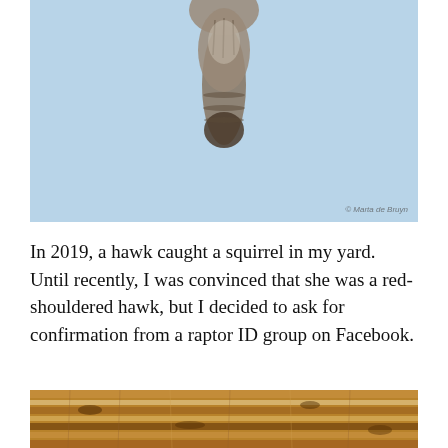[Figure (photo): Hawk photographed from below in flight against a light blue sky, showing underside of body and tail with brown/white patterned feathers. Watermark reads '© Marta de Bruyn' in bottom right corner.]
In 2019, a hawk caught a squirrel in my yard. Until recently, I was convinced that she was a red-shouldered hawk, but I decided to ask for confirmation from a raptor ID group on Facebook.
[Figure (photo): Close-up photo of hawk feathers showing brown, tan, and white barred/patterned plumage.]